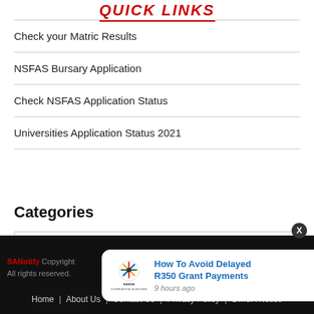Quick Links
Check your Matric Results
NSFAS Bursary Application
Check NSFAS Application Status
Universities Application Status 2021
Categories
Select Category
SANotify Copyright All rights reserved. Home | About Us | Contact Us | Privacy Policy | DMCA Notice
How To Avoid Delayed R350 Grant Payments 9 hours ago